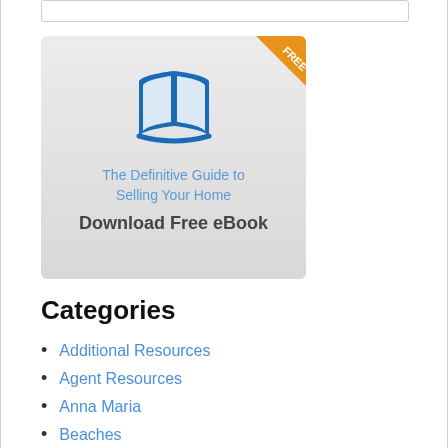[Figure (illustration): eBook promotional banner showing an open book icon in blue, with a 'FREE' orange corner badge, the title 'The Definitive Guide to Selling Your Home', and a 'Download Free eBook' button on a light gray gradient background.]
Categories
Additional Resources
Agent Resources
Anna Maria
Beaches
Bradenton
Buy
Englewood